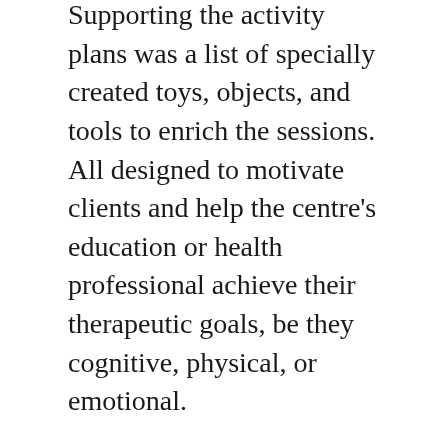Supporting the activity plans was a list of specially created toys, objects, and tools to enrich the sessions. All designed to motivate clients and help the centre's education or health professional achieve their therapeutic goals, be they cognitive, physical, or emotional.
The women explained that the dogs were not their own, but lived in a shelter. One day a week they would go to the shelter, take three dogs out and visit a nearby nursing home. The nursing home residents were happy to pet the dogs, brush them and throw them a ball. But the encounters were quickly becoming routine, and the women felt the need to liven up the sessions a bit. What could they do, given that the dogs had virtually no skills? Sometimes it was all they could do to keep the dogs calm during the visits.
From their point of view, it was a reasonable question.